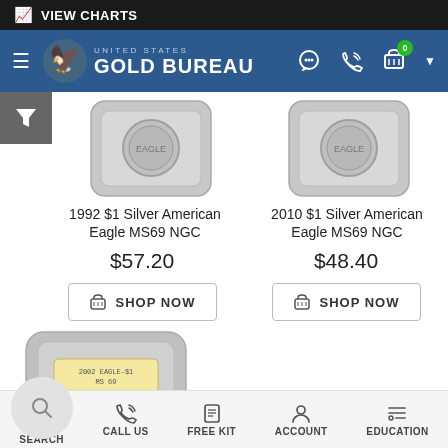VIEW CHARTS
[Figure (logo): United States Gold Bureau logo with eagle emblem and navigation icons]
[Figure (photo): 1992 $1 Silver American Eagle MS69 NGC coin in slab]
1992 $1 Silver American Eagle MS69 NGC
$57.20
SHOP NOW
[Figure (photo): 2010 $1 Silver American Eagle MS69 NGC coin in slab]
2010 $1 Silver American Eagle MS69 NGC
$48.40
SHOP NOW
[Figure (photo): 2002 Eagle $1 Silver coin in NGC MS69 slab]
SEARCH  CALL US  FREE KIT  ACCOUNT  EDUCATION